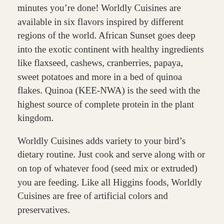minutes you're done! Worldly Cuisines are available in six flavors inspired by different regions of the world. African Sunset goes deep into the exotic continent with healthy ingredients like flaxseed, cashews, cranberries, papaya, sweet potatoes and more in a bed of quinoa flakes. Quinoa (KEE-NWA) is the seed with the highest source of complete protein in the plant kingdom.
Worldly Cuisines adds variety to your bird's dietary routine. Just cook and serve along with or on top of whatever food (seed mix or extruded) you are feeding. Like all Higgins foods, Worldly Cuisines are free of artificial colors and preservatives.
Why We Love It:
All Natural & Limited Ingredients